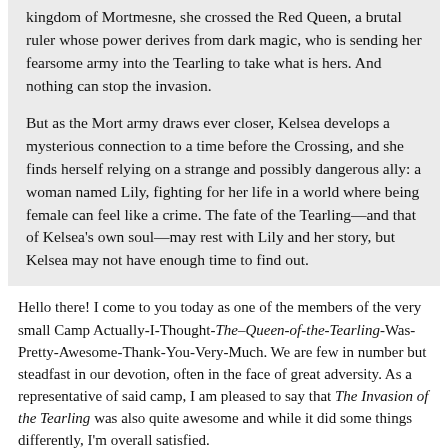kingdom of Mortmesne, she crossed the Red Queen, a brutal ruler whose power derives from dark magic, who is sending her fearsome army into the Tearling to take what is hers. And nothing can stop the invasion.

But as the Mort army draws ever closer, Kelsea develops a mysterious connection to a time before the Crossing, and she finds herself relying on a strange and possibly dangerous ally: a woman named Lily, fighting for her life in a world where being female can feel like a crime. The fate of the Tearling—and that of Kelsea's own soul—may rest with Lily and her story, but Kelsea may not have enough time to find out.
Hello there! I come to you today as one of the members of the very small Camp Actually-I-Thought-The–Queen-of-the-Tearling-Was-Pretty-Awesome-Thank-You-Very-Much. We are few in number but steadfast in our devotion, often in the face of great adversity. As a representative of said camp, I am pleased to say that The Invasion of the Tearling was also quite awesome and while it did some things differently, I'm overall satisfied.
A quick disclaimer, if you are one of the people that didn't like The Queen of the Tearling all that much and are wondering if this review will help you decide whether or not to continue, I can't help you. While